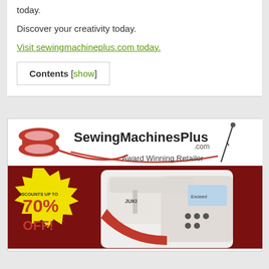today.
Discover your creativity today.
Visit sewingmachineplus.com today.
Contents [show]
[Figure (illustration): SewingMachinesPlus.com advertisement banner showing logo with red thread spool and needle, 'Award Winning Retailer' tagline, a Juki sewing machine, and a yellow starburst badge showing 'DISCOUNTS UP TO 70% OFF!']